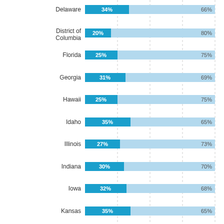[Figure (stacked-bar-chart): Stacked bar chart of states]